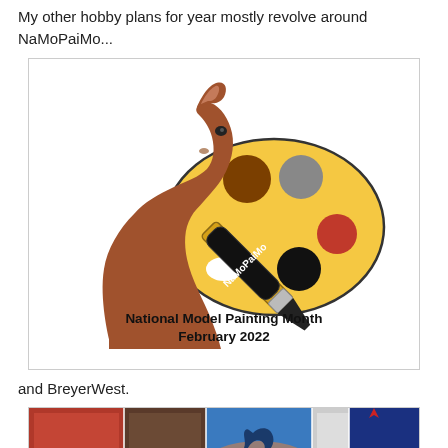My other hobby plans for year mostly revolve around NaMoPaiMo...
[Figure (illustration): NaMoPaiMo logo: a brown horse head silhouette overlaid with a paint palette and a paintbrush with 'NaMoPaiMo' text. Below: 'National Model Painting Month February 2022']
and BreyerWest.
[Figure (photo): BreyerWest banner showing a collage of photos with people, model horses, and the BreyerWest and Breyer logos on a blue background.]
I'd also like to thin my original finish herd, paint a few resins and make a little bit of tack. BreyerFest is a possibility, although right now I can't imagine voluntarily leaving Olive for that long. Maybe I'll be more normal in my feelings about her by July, but probably not.